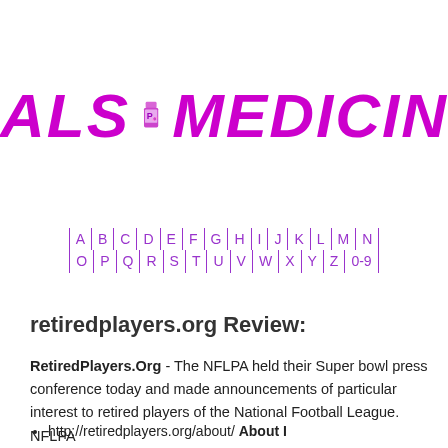[Figure (logo): ALS Medicines logo with pill bottle icon between bold purple italic text ALS and MEDICIN]
[Figure (other): Alphabetical navigation bar with letters A-Z and 0-9 separated by vertical dividers, in purple]
retiredplayers.org Review:
RetiredPlayers.Org - The NFLPA held their Super bowl press conference today and made announcements of particular interest to retired players of the National Football League.  NFLPA
http://retiredplayers.org/about/ About I...